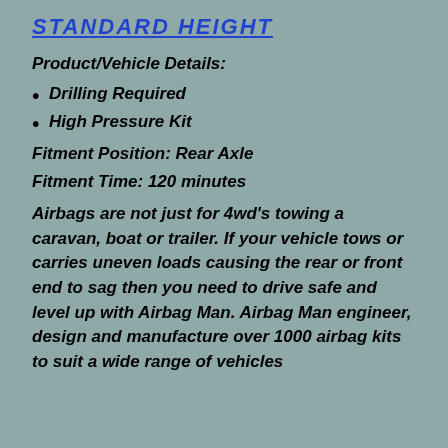STANDARD HEIGHT
Product/Vehicle Details:
Drilling Required
High Pressure Kit
Fitment Position: Rear Axle
Fitment Time: 120 minutes
Airbags are not just for 4wd’s towing a caravan, boat or trailer. If your vehicle tows or carries uneven loads causing the rear or front end to sag then you need to drive safe and level up with Airbag Man. Airbag Man engineer, design and manufacture over 1000 airbag kits to suit a wide range of vehicles